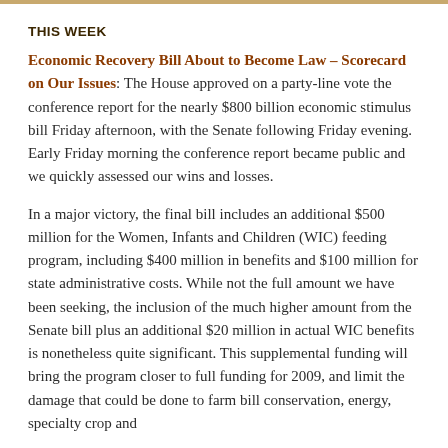THIS WEEK
Economic Recovery Bill About to Become Law – Scorecard on Our Issues: The House approved on a party-line vote the conference report for the nearly $800 billion economic stimulus bill Friday afternoon, with the Senate following Friday evening. Early Friday morning the conference report became public and we quickly assessed our wins and losses.
In a major victory, the final bill includes an additional $500 million for the Women, Infants and Children (WIC) feeding program, including $400 million in benefits and $100 million for state administrative costs. While not the full amount we have been seeking, the inclusion of the much higher amount from the Senate bill plus an additional $20 million in actual WIC benefits is nonetheless quite significant. This supplemental funding will bring the program closer to full funding for 2009, and limit the damage that could be done to farm bill conservation, energy, specialty crop and